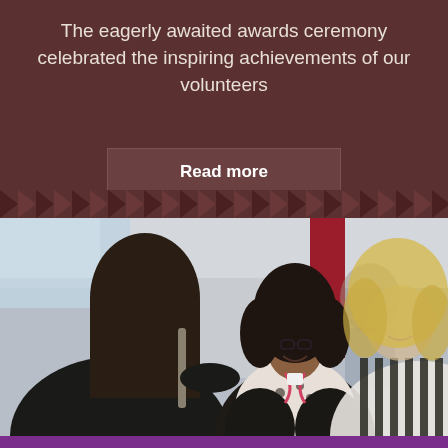The eagerly awaited awards ceremony celebrated the inspiring achievements of our volunteers
Read more
[Figure (photo): Three women conversing at an awards event. A woman with dark curly hair and glasses wearing a lanyard is smiling in the center. A blonde woman is on the right in a striped jacket. A woman with dark hair is seen from behind on the left. Background shows a red banner and office setting.]